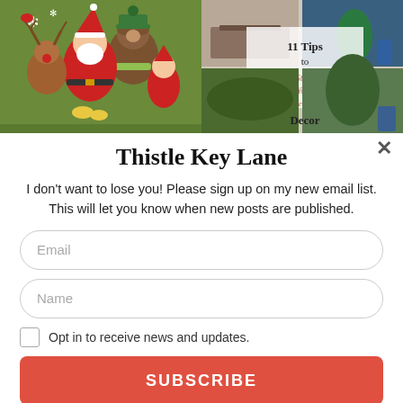[Figure (illustration): Left: Christmas illustration with Santa Claus, reindeer, a bear, and an elf on a green background. Right: Collage of home decor photos with text '11 Tips to Style Your Coffee Table Decor' in pink handwriting on a light panel.]
Thistle Key Lane
I don't want to lose you! Please sign up on my new email list. This will let you know when new posts are published.
Email
Name
Opt in to receive news and updates.
SUBSCRIBE